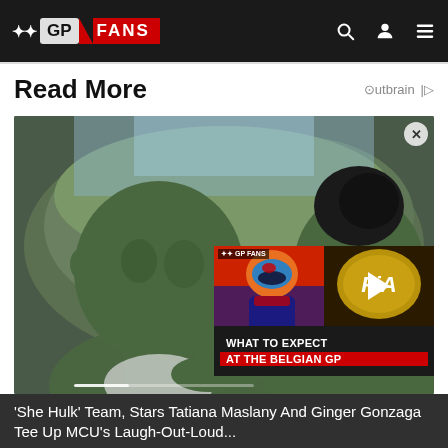GP FANS
Read More
[Figure (screenshot): She-Hulk scene with two green-skinned characters facing each other outdoors, with a video overlay showing 'WHAT TO EXPECT AT THE BELGIAN GP' featuring a Formula 1 driver and FIA logo]
'She Hulk' Team, Stars Tatiana Maslany And Ginger Gonzaga Tee Up MCU's Laugh-Out-Loud...